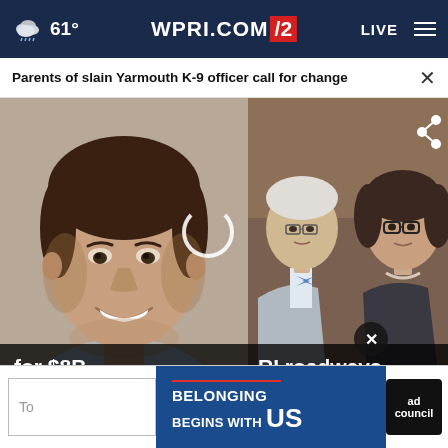61° WPRI.COM 12 LIVE
Parents of slain Yarmouth K-9 officer call for change
[Figure (photo): Split image: left side shows a smiling young man (officer), right side shows two older adults (parents) — a man in suit with bow tie and a woman with glasses]
for $8B
RI roadways
[Figure (infographic): Ad banner: 'BELONGING BEGINS WITH US' — Ad Council advertisement on blue background]